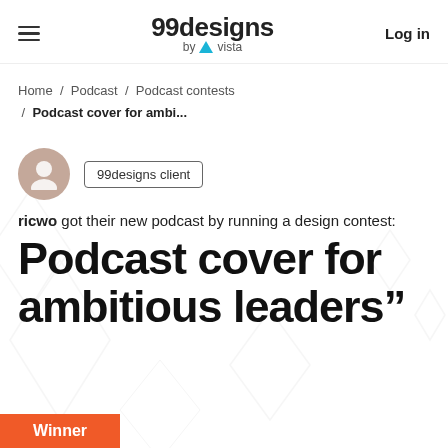99designs by vista   Log in
Home / Podcast / Podcast contests / Podcast cover for ambi...
[Figure (illustration): Avatar icon of a person silhouette in a beige/brown circle, next to a badge labeled '99designs client']
ricwo got their new podcast by running a design contest:
Podcast cover for ambitious leaders"
Winner